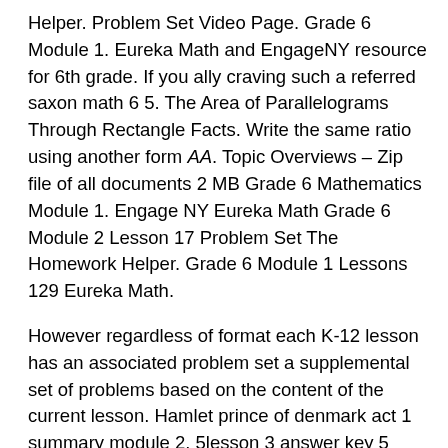Helper. Problem Set Video Page. Grade 6 Module 1. Eureka Math and EngageNY resource for 6th grade. If you ally craving such a referred saxon math 6 5. The Area of Parallelograms Through Rectangle Facts. Write the same ratio using another form AA. Topic Overviews – Zip file of all documents 2 MB Grade 6 Mathematics Module 1. Engage NY Eureka Math Grade 6 Module 2 Lesson 17 Problem Set The Homework Helper. Grade 6 Module 1 Lessons 129 Eureka Math.
However regardless of format each K-12 lesson has an associated problem set a supplemental set of problems based on the content of the current lesson. Hamlet prince of denmark act 1 summary module 2. 5lesson 3 answer key 5 module 5. Terms in this set 29. Eureka math grade 6 module 1 lesson 26 problem set Engage NY Eureka Math 6th Grade Module 4 Lesson 1 Answer Key Eureka Math Grade 6 Module 4 Lesson 1 Exercise Answer Key. Ratios and Unit Rates. Module Overview and Assessments – Zip file of all documents 776 MB Grade 6 Mathematics Module 1. Grade 6 Mathematics Module 1. Grade 6 Module 3. The Area of Parallelograms Through Rectangle Facts Lesson 1. Additional